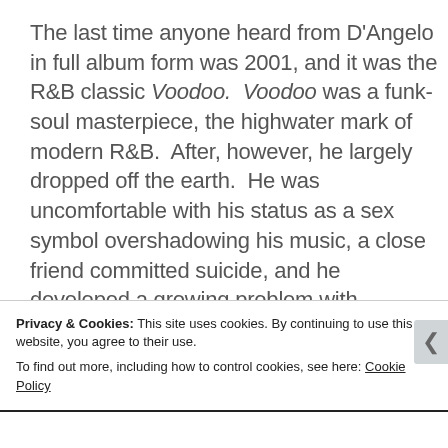The last time anyone heard from D'Angelo in full album form was 2001, and it was the R&B classic Voodoo. Voodoo was a funk-soul masterpiece, the highwater mark of modern R&B. After, however, he largely dropped off the earth. He was uncomfortable with his status as a sex symbol overshadowing his music, a close friend committed suicide, and he developed a growing problem with alcohol. For a while, it seemed apparent that, aside from the odd guest appearance, his career had been derailed for good. Then the
Privacy & Cookies: This site uses cookies. By continuing to use this website, you agree to their use.
To find out more, including how to control cookies, see here: Cookie Policy
Close and accept